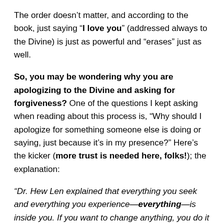The order doesn't matter, and according to the book, just saying “I love you” (addressed always to the Divine) is just as powerful and “erases” just as well.
So, you may be wondering why you are apologizing to the Divine and asking for forgiveness? One of the questions I kept asking when reading about this process is, “Why should I apologize for something someone else is doing or saying, just because it’s in my presence?” Here’s the kicker (more trust is needed here, folks!); the explanation:
“Dr. Hew Len explained that everything you seek and everything you experience—everything—is inside you. If you want to change anything, you do it inside, not outside. The whole idea is total responsibility. There’s no one to blame. It’s all you.”